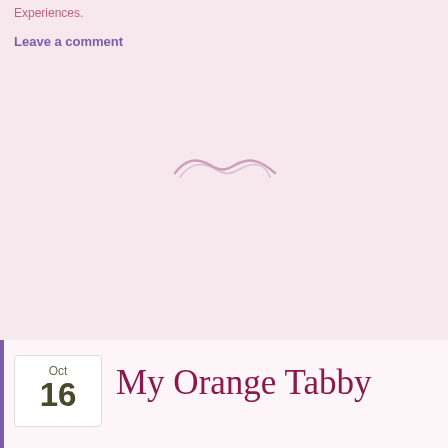Experiences.
Leave a comment
[Figure (illustration): Decorative swirl/tilde divider ornament in muted pink/mauve color]
My Orange Tabby
Oct 16
He purrs louder than a siren,
His legs are longer than a giraffes,
My room is the place he stays,
My porch is where he waits for me,
He plays with a catnip sock,
His colors are orange and white,
His eyes are a solid pale green,
He is my fiancée who almost died,
He is my Harry
This entry was posted on October 16, 2013, in Poems and tagged Experiences.